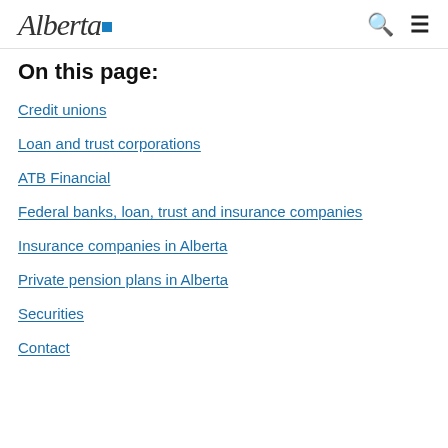Alberta [logo]
On this page:
Credit unions
Loan and trust corporations
ATB Financial
Federal banks, loan, trust and insurance companies
Insurance companies in Alberta
Private pension plans in Alberta
Securities
Contact